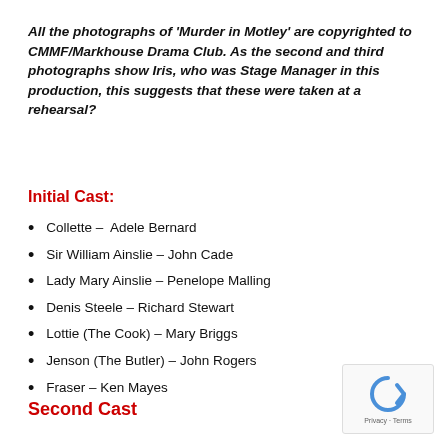All the photographs of 'Murder in Motley' are copyrighted to CMMF/Markhouse Drama Club. As the second and third photographs show Iris, who was Stage Manager in this production, this suggests that these were taken at a rehearsal?
Initial Cast:
Collette – Adele Bernard
Sir William Ainslie – John Cade
Lady Mary Ainslie – Penelope Malling
Denis Steele – Richard Stewart
Lottie (The Cook) – Mary Briggs
Jenson (The Butler) – John Rogers
Fraser – Ken Mayes
Second Cast